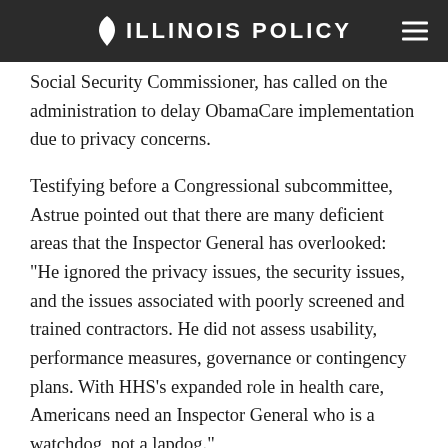ILLINOIS POLICY
Social Security Commissioner, has called on the administration to delay ObamaCare implementation due to privacy concerns.
Testifying before a Congressional subcommittee, Astrue pointed out that there are many deficient areas that the Inspector General has overlooked: “He ignored the privacy issues, the security issues, and the issues associated with poorly screened and trained contractors. He did not assess usability, performance measures, governance or contingency plans. With HHS’s expanded role in health care, Americans need an Inspector General who is a watchdog, not a lapdog.”
The apparent lack of administration self-policing